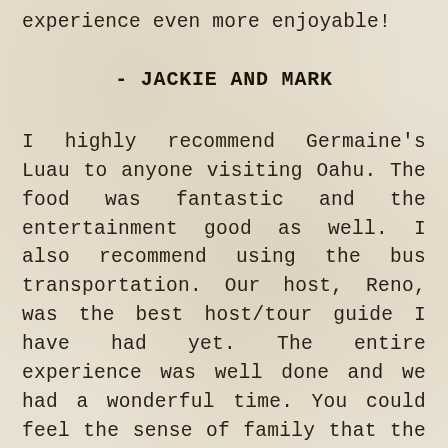experience even more enjoyable!
- JACKIE AND MARK
I highly recommend Germaine's Luau to anyone visiting Oahu. The food was fantastic and the entertainment good as well. I also recommend using the bus transportation. Our host, Reno, was the best host/tour guide I have had yet. The entire experience was well done and we had a wonderful time. You could feel the sense of family that the staff felt for the place and each other. I felt that we had a good glimpse into some of the Polynesian culture. The show was just the right length for everyone and it